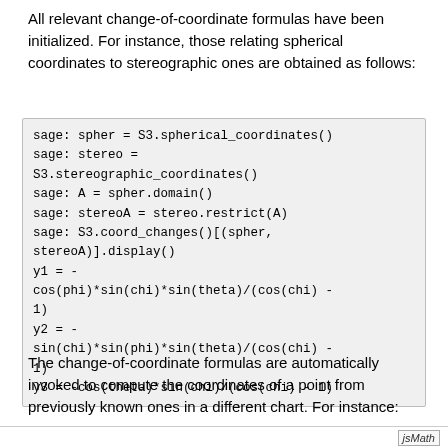All relevant change-of-coordinate formulas have been initialized. For instance, those relating spherical coordinates to stereographic ones are obtained as follows:
[Figure (screenshot): Code block showing Sage commands: spher = S3.spherical_coordinates(), stereo = S3.stereographic_coordinates(), A = spher.domain(), stereoA = stereo.restrict(A), S3.coord_changes()[(spher, stereoA)].display() followed by output: y1 = -cos(phi)*sin(chi)*sin(theta)/(cos(chi) - 1) y2 = -sin(chi)*sin(phi)*sin(theta)/(cos(chi) - 1) y3 = -cos(theta)*sin(chi)/(cos(chi) - 1)]
The change-of-coordinate formulas are automatically invoked to compute the coordinates of a point from previously known ones in a different chart. For instance:
jsMath